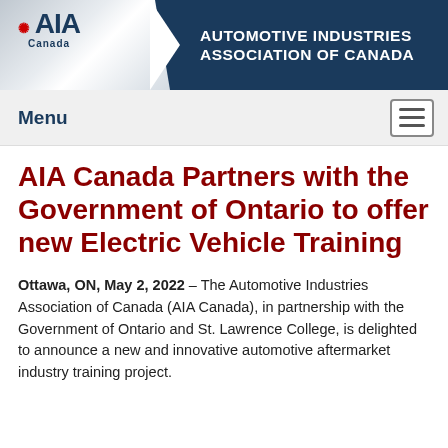[Figure (logo): AIA Canada – Automotive Industries Association of Canada header banner with logo and organization name on dark blue background]
Menu
AIA Canada Partners with the Government of Ontario to offer new Electric Vehicle Training
Ottawa, ON, May 2, 2022 – The Automotive Industries Association of Canada (AIA Canada), in partnership with the Government of Ontario and St. Lawrence College, is delighted to announce a new and innovative automotive aftermarket industry training project.